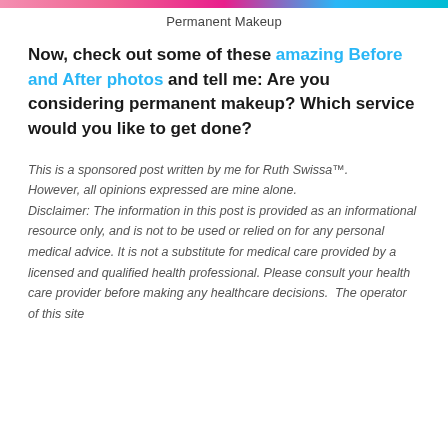Permanent Makeup
Now, check out some of these amazing Before and After photos and tell me: Are you considering permanent makeup? Which service would you like to get done?
This is a sponsored post written by me for Ruth Swissa™. However, all opinions expressed are mine alone. Disclaimer: The information in this post is provided as an informational resource only, and is not to be used or relied on for any personal medical advice. It is not a substitute for medical care provided by a licensed and qualified health professional. Please consult your health care provider before making any healthcare decisions. The operator of this site